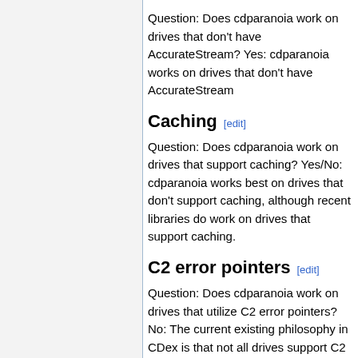Question: Does cdparanoia work on drives that don't have AccurateStream? Yes: cdparanoia works on drives that don't have AccurateStream
Caching [edit]
Question: Does cdparanoia work on drives that support caching? Yes/No: cdparanoia works best on drives that don't support caching, although recent libraries do work on drives that support caching.
C2 error pointers [edit]
Question: Does cdparanoia work on drives that utilize C2 error pointers? No: The current existing philosophy in CDex is that not all drives support C2 error pointers so therefore the libraries do not support C2 error pointers.
Log file [edit]
Question: Does the current existing